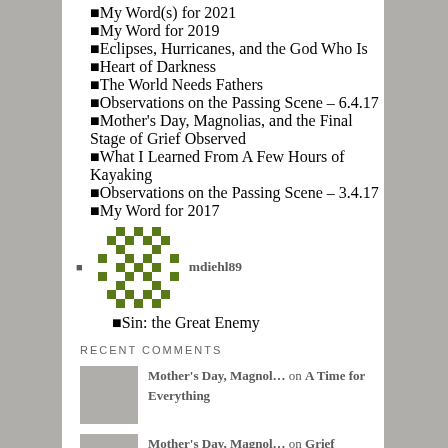My Word(s) for 2021
My Word for 2019
Eclipses, Hurricanes, and the God Who Is
Heart of Darkness
The World Needs Fathers
Observations on the Passing Scene – 6.4.17
Mother's Day, Magnolias, and the Final Stage of Grief Observed
What I Learned From A Few Hours of Kayaking
Observations on the Passing Scene – 3.4.17
My Word for 2017
mdiehl89
Sin: the Great Enemy
RECENT COMMENTS
Mother's Day, Magnol… on A Time for Everything
Mother's Day, Magnol… on Grief